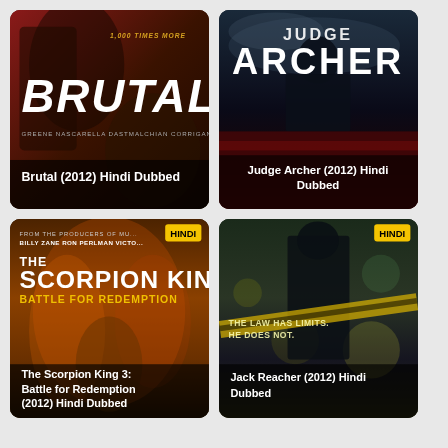[Figure (illustration): Movie poster for Brutal (2012) Hindi Dubbed - dark red/brown tones showing actor with 'BRUTAL' text and cast names]
Brutal (2012) Hindi Dubbed
[Figure (illustration): Movie poster for Judge Archer (2012) Hindi Dubbed - dark blue/red dramatic action poster with 'JUDGE ARCHER' title text]
Judge Archer (2012) Hindi Dubbed
[Figure (illustration): Movie poster for The Scorpion King 3: Battle for Redemption (2012) Hindi Dubbed - orange/brown tones with HINDI badge]
The Scorpion King 3: Battle for Redemption (2012) Hindi Dubbed
[Figure (illustration): Movie poster for Jack Reacher (2012) Hindi Dubbed - dark green/urban tones with HINDI badge and 'THE LAW HAS LIMITS. HE DOES NOT.' tagline]
Jack Reacher (2012) Hindi Dubbed